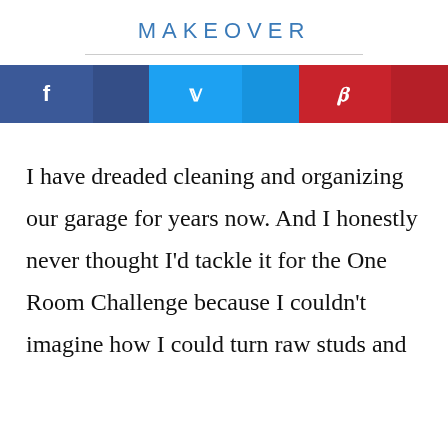MAKEOVER
[Figure (infographic): Social share buttons: Facebook (blue), Twitter (light blue), Pinterest (red)]
I have dreaded cleaning and organizing our garage for years now. And I honestly never thought I'd tackle it for the One Room Challenge because I couldn't imagine how I could turn raw studs and